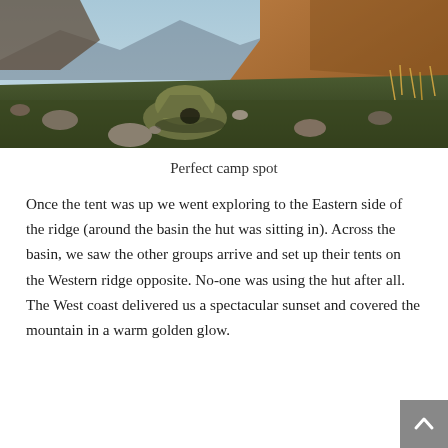[Figure (photo): Outdoor camping scene on a mountain ridge with a dome tent in the center, surrounded by rocks and sparse vegetation. Large golden-brown rocky cliffs in the background under an early morning or evening sky.]
Perfect camp spot
Once the tent was up we went exploring to the Eastern side of the ridge (around the basin the hut was sitting in). Across the basin, we saw the other groups arrive and set up their tents on the Western ridge opposite. No-one was using the hut after all. The West coast delivered us a spectacular sunset and covered the mountain in a warm golden glow.